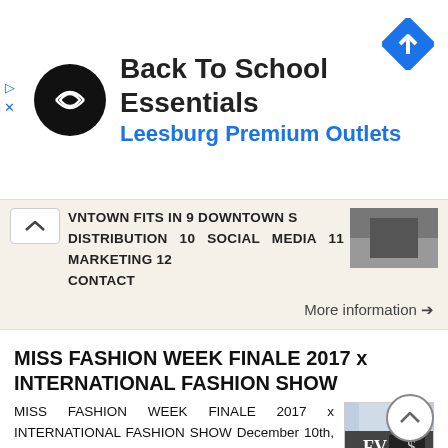[Figure (infographic): Ad banner with circular black logo with arrow icon, text 'Back To School Essentials' and 'Leesburg Premium Outlets' in blue, and a blue diamond map icon on the right]
VNTOWN FITS IN 9 DOWNTOWN S DISTRIBUTION 10 SOCIAL MEDIA 11 MARKETING 12 CONTACT
More information →
MISS FASHION WEEK FINALE 2017 x INTERNATIONAL FASHION SHOW
MISS FASHION WEEK FINALE 2017 x INTERNATIONAL FASHION SHOW December 10th, 2016 Miss Fashion Week Finale x International Fashion Show SPONSORSHIP PACKAGE Presented by Miss Fashion Week and VIP Exclusive